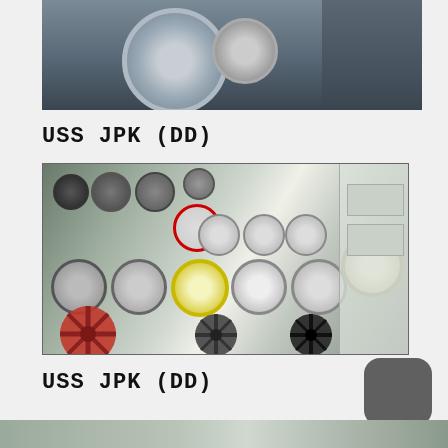[Figure (photo): Partial top photo of USS JPK machinery/turbine equipment, cropped at top of page]
USS JPK (DD)
[Figure (photo): Interior control room of USS JPK (DD) naval vessel showing gauges, pressure meters, clocks, valves including red and black handwheels on instrument panel]
USS JPK (DD)
[Figure (photo): Partial bottom strip photo, beginning of another USS JPK image]